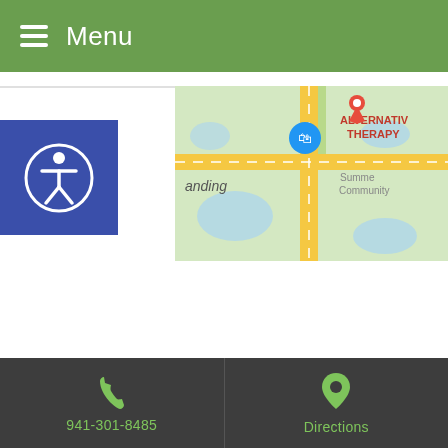Menu
[Figure (map): Google Maps excerpt showing a location pin for Alternative Therapy near a road intersection, with 'anding', 'ALTERNATIVE THERAPY', 'Summer Community' text visible.]
[Figure (logo): Blue square accessibility icon showing a person in a circle (wheelchair accessibility symbol)]
| Day | Hours |
| --- | --- |
| Tue | 9:00am - 5:30pm |
| Wed | 9:00am - 5:30pm |
| Thu | 9:00am - 5:30pm |
941-301-8485  Directions